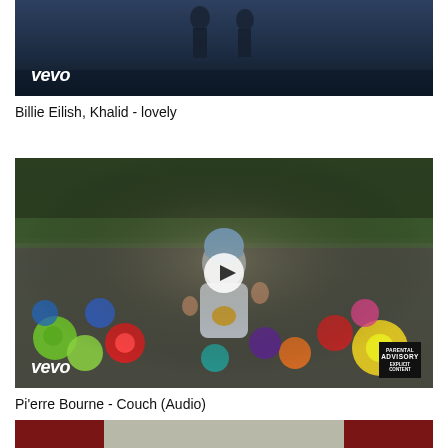[Figure (screenshot): Vevo music video thumbnail for Billie Eilish and Khalid - lovely, dark blue toned image with two figures and Vevo logo in white at bottom left]
Billie Eilish, Khalid - lovely
[Figure (screenshot): Vevo music video thumbnail for Pi'erre Bourne - Couch (Audio), showing a person in a beanie hat surrounded by colorful flower stuffed animals/toys, with play button overlay, Vevo logo and Explicit Advisory label]
Pi'erre Bourne - Couch (Audio)
[Figure (screenshot): Partial thumbnail strip showing start of a third video, partially cut off at bottom of page]